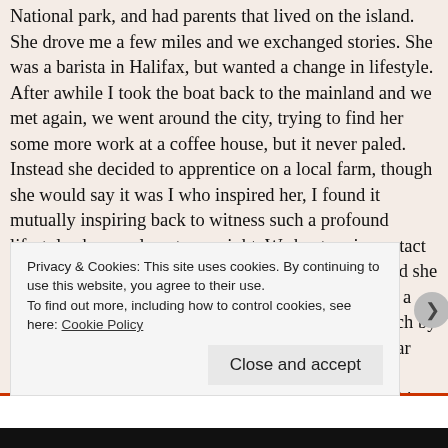National park, and had parents that lived on the island. She drove me a few miles and we exchanged stories. She was a barista in Halifax, but wanted a change in lifestyle. After awhile I took the boat back to the mainland and we met again, we went around the city, trying to find her some more work at a coffee house, but it never paled. Instead she decided to apprentice on a local farm, though she would say it was I who inspired her, I found it mutually inspiring back to witness such a profound lifestyle change almost overnight. We kept on in contact overseas when I moved away, and a year later I found she had finished her apprenticeship, and was looking for a new one on yet another farm, she had learned so much by the time when we met again, and every so often I hear from her, and her times on the farm. And sometimes the woman you meet you tend to fall in love with. When tramping in the deep south across the Arizona
Privacy & Cookies: This site uses cookies. By continuing to use this website, you agree to their use.
To find out more, including how to control cookies, see here: Cookie Policy
Close and accept